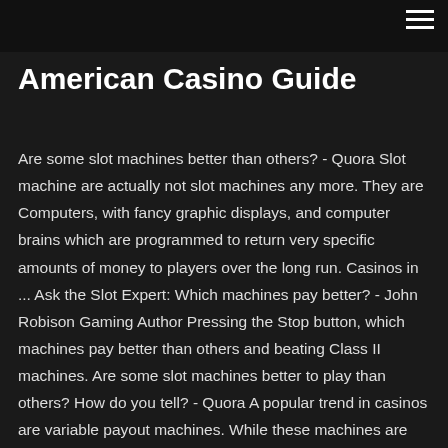American Casino Guide
American Casino Guide
Are some slot machines better than others? - Quora Slot machine are actually not slot machines any more. They are Computers, with fancy graphic displays, and computer brains which are programmed to return very specific amounts of money to players over the long run. Casinos in ... Ask the Slot Expert: Which machines pay better? - John Robison Gaming Author Pressing the Stop button, which machines pay better than others and beating Class II machines. Are some slot machines better to play than others? How do you tell? - Quora A popular trend in casinos are variable payout machines. While these machines are overall winners for the casinos [with a HOLD of around 6–